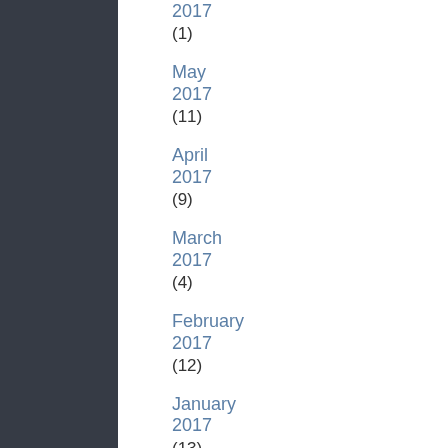2017
(1)
May 2017
(11)
April 2017
(9)
March 2017
(4)
February 2017
(12)
January 2017
(13)